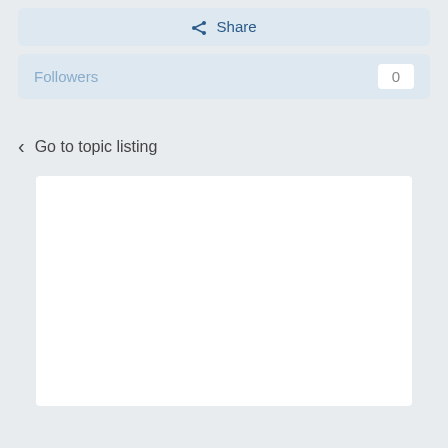Share
Followers 0
Go to topic listing